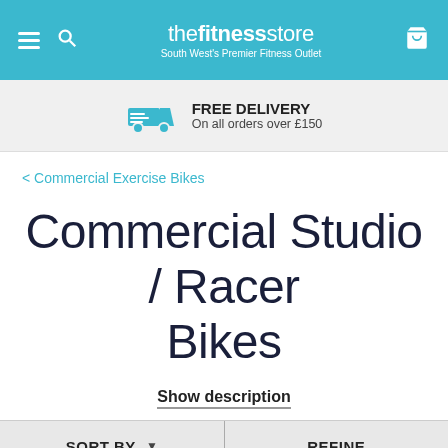thefitnessstore — South West's Premier Fitness Outlet
FREE DELIVERY — On all orders over £150
< Commercial Exercise Bikes
Commercial Studio / Racer Bikes
Show description
SORT BY   ▼  |  REFINE
1 to 6 (6 items)